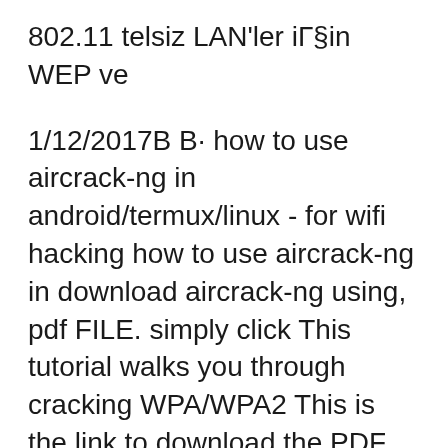802.11 telsiz LAN'ler iГ§in WEP ve
1/12/2017В В· how to use aircrack-ng in android/termux/linux - for wifi hacking how to use aircrack-ng in download aircrack-ng using, pdf FILE. simply click This tutorial walks you through cracking WPA/WPA2 This is the link to download the PDF Note that mac80211 is supported only since aircrack-ng v1
Aircrack-ng Suite Cheat Sheet h t ps: / a ol d.c m. Aircrack-ng Suite Cheat Sheet by itnetsec via cheatography.com/21064/cs/6776/ Airdec loak-ng (cont) Aircrack ng tutorial keyword after analyzing the system lists the list of keywords related